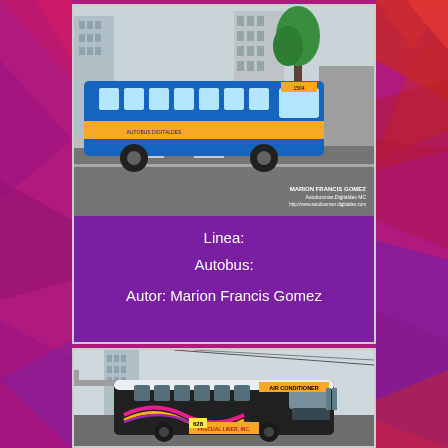[Figure (photo): Blue and yellow bus driving on a road with buildings and trees in the background. Watermark reads MARION FRANCIS GOMEZ, Autobusman Digitaldes MC, http://www.autobusman.digitaldex.com]
Linea:
Autobus:
Autor: Marion Francis Gomez
[Figure (photo): White and pink/purple bus with AIR CONDITIONER sign on front, PASCUAL LINER INC branding, route number 628, parked or driving in urban area with buildings in background]